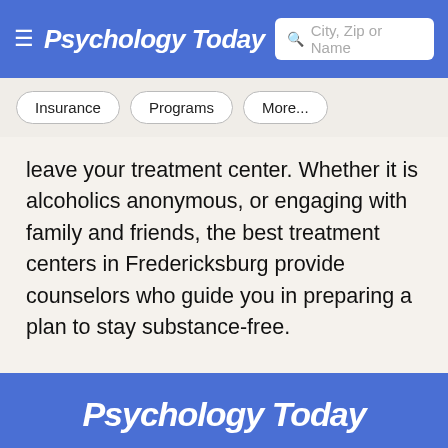Psychology Today — City, Zip or Name search
Insurance
Programs
More...
leave your treatment center. Whether it is alcoholics anonymous, or engaging with family and friends, the best treatment centers in Fredericksburg provide counselors who guide you in preparing a plan to stay substance-free.
Psychology Today — Therapists, Online Therapy, Psychiatrists, Treatment Centers, Support Groups